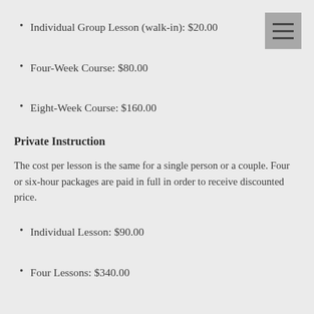Individual Group Lesson (walk-in): $20.00
Four-Week Course: $80.00
Eight-Week Course: $160.00
Private Instruction
The cost per lesson is the same for a single person or a couple. Four or six-hour packages are paid in full in order to receive discounted price.
Individual Lesson: $90.00
Four Lessons: $340.00